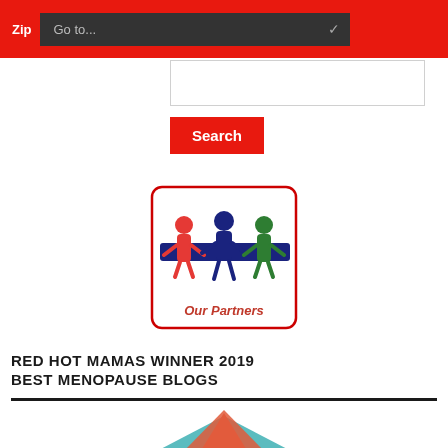Zip  Go to...
Search
[Figure (illustration): Our Partners logo showing colorful paper-doll figures holding hands in red, blue and green colors, with text 'Our Partners' below, in a rounded rectangle border]
RED HOT MAMAS WINNER 2019 BEST MENOPAUSE BLOGS
[Figure (illustration): Best Blogs 2019 Menopause badge from healthline.com — hexagonal teal badge with coral/red roof shape on top, showing 'best BLOGS 2019 MENOPAUSE' text and laurel wreaths, with healthline.com at bottom]